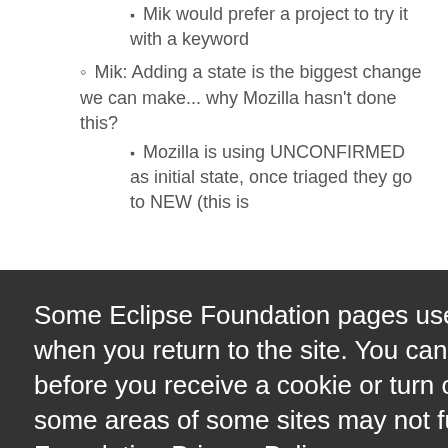Mik would prefer a project to try it with a keyword
Mik: Adding a state is the biggest change we can make... why Mozilla hasn't done this?
Mozilla is using UNCONFIRMED as initial state, once triaged they go to NEW (this is
Some Eclipse Foundation pages use cookies to better serve you when you return to the site. You can set your browser to notify you before you receive a cookie or turn off cookies. If you do so, however, some areas of some sites may not function properly. To read Eclipse Foundation Privacy Policy
click here.
Decline
Allow cookies
bug 288721 🔒 - Sonar / Eclemma - Cedric Brun,